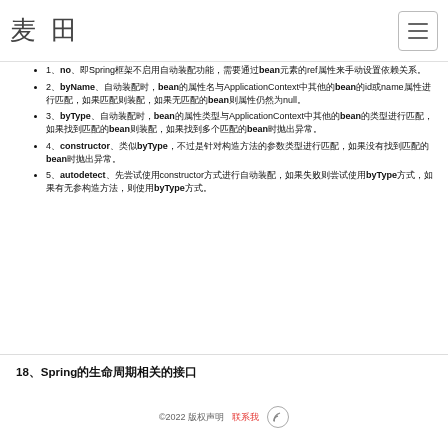麦田 [menu button]
1、no、即Spring框架不启用自动装配功能，需要通过bean元素的ref属性来手动设置依赖关系。
2、byName、自动装配时，bean的属性名与ApplicationContext中其他的bean的id或name属性进行匹配，如果匹配则装配，如果无匹配的bean则属性仍然为null。
3、byType、自动装配时，bean的属性类型与ApplicationContext中其他的bean的类型进行匹配，如果找到匹配的bean则装配，如果找到多个匹配的bean时抛出异常。
4、constructor、类似byType，不过是针对构造方法的参数类型进行匹配，如果没有找到匹配的bean时抛出异常。
5、autodetect、先尝试使用constructor方式进行自动装配，如果失败则尝试使用byType方式，如果有无参构造方法，则使用byType方式。
18、Spring的生命周期相关的接口
©2022 版权声明 联系我 [rss icon]